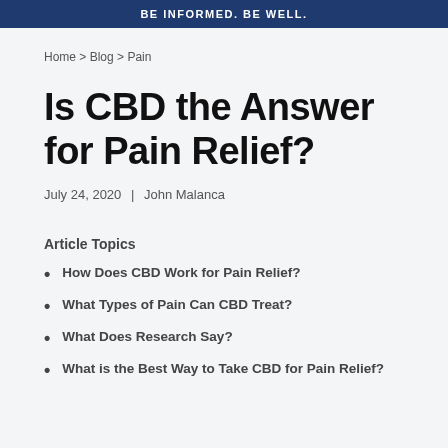BE INFORMED. BE WELL.
Home > Blog > Pain
Is CBD the Answer for Pain Relief?
July 24, 2020  |  John Malanca
Article Topics
How Does CBD Work for Pain Relief?
What Types of Pain Can CBD Treat?
What Does Research Say?
What is the Best Way to Take CBD for Pain Relief?